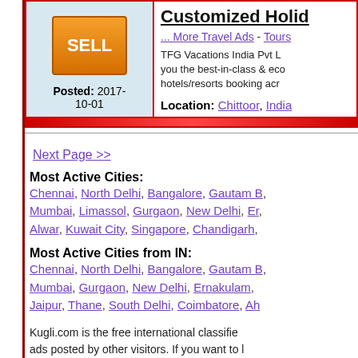[Figure (other): SELL button orange rectangle]
Posted: 2017-10-01
Customized Holid...
... More Travel Ads - Tours
TFG Vacations India Pvt L... you the best-in-class & eco... hotels/resorts booking acr...
Location: Chittoor, India
Next Page >>
Most Active Cities:
Chennai, North Delhi, Bangalore, Gautam B... Mumbai, Limassol, Gurgaon, New Delhi, Er... Alwar, Kuwait City, Singapore, Chandigarh,
Most Active Cities from IN:
Chennai, North Delhi, Bangalore, Gautam B... Mumbai, Gurgaon, New Delhi, Ernakulam, ... Jaipur, Thane, South Delhi, Coimbatore, Ah...
Kugli.com is the free international classifie... ads posted by other visitors. If you want to l... collectibles, computers, electronics, furnitur...